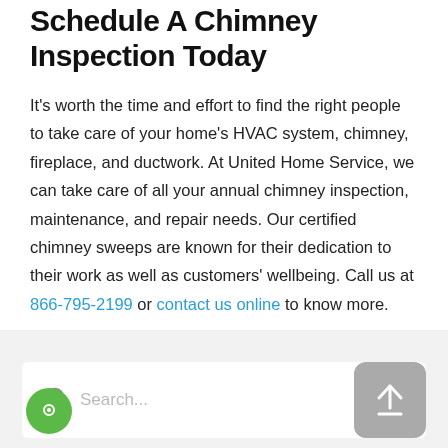Schedule A Chimney Inspection Today
It’s worth the time and effort to find the right people to take care of your home’s HVAC system, chimney, fireplace, and ductwork. At United Home Service, we can take care of all your annual chimney inspection, maintenance, and repair needs. Our certified chimney sweeps are known for their dedication to their work as well as customers’ wellbeing. Call us at 866-795-2199 or contact us online to know more.
[Figure (screenshot): Search bar widget with magnifying glass icon and placeholder text 'Search...', a green circular chat icon on the left, and a grey rounded upload arrow button on the right, all on a light grey background footer area.]